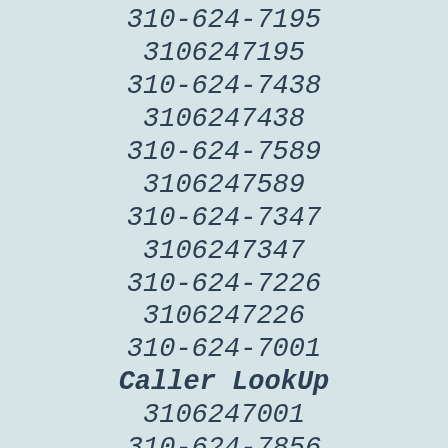310-624-7195
3106247195
310-624-7438
3106247438
310-624-7589
3106247589
310-624-7347
3106247347
310-624-7226
3106247226
310-624-7001
Caller LookUp
3106247001
310-624-7856
3106247856
310-624-7223